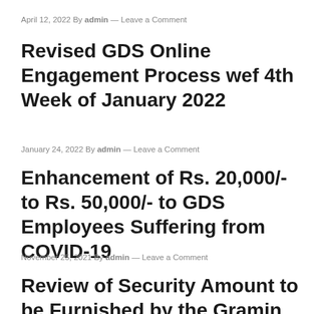April 12, 2022 By admin — Leave a Comment
Revised GDS Online Engagement Process wef 4th Week of January 2022
January 24, 2022 By admin — Leave a Comment
Enhancement of Rs. 20,000/- to Rs. 50,000/- to GDS Employees Suffering from COVID-19
November 25, 2021 By admin — Leave a Comment
Review of Security Amount to be Furnished by the Gramin Dak